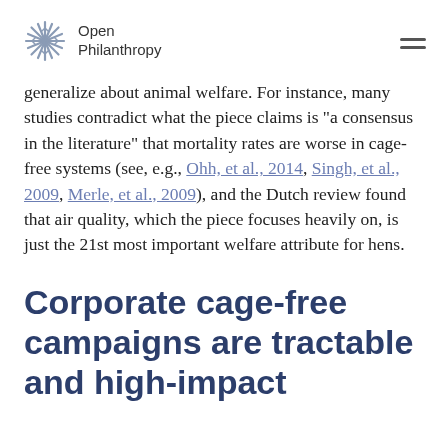Open Philanthropy
generalize about animal welfare. For instance, many studies contradict what the piece claims is “a consensus in the literature” that mortality rates are worse in cage-free systems (see, e.g., Ohh, et al., 2014, Singh, et al., 2009, Merle, et al., 2009), and the Dutch review found that air quality, which the piece focuses heavily on, is just the 21st most important welfare attribute for hens.
Corporate cage-free campaigns are tractable and high-impact